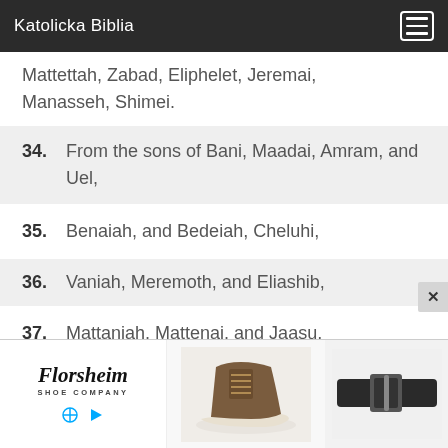Katolicka Biblia
Mattettah, Zabad, Eliphelet, Jeremai, Manasseh, Shimei.
34. From the sons of Bani, Maadai, Amram, and Uel,
35. Benaiah, and Bedeiah, Cheluhi,
36. Vaniah, Meremoth, and Eliashib,
37. Mattaniah, Mattenai, and Jaasu,
[Figure (photo): Advertisement for Florsheim Shoe Company showing a brown lace-up boot and a black leather belt]